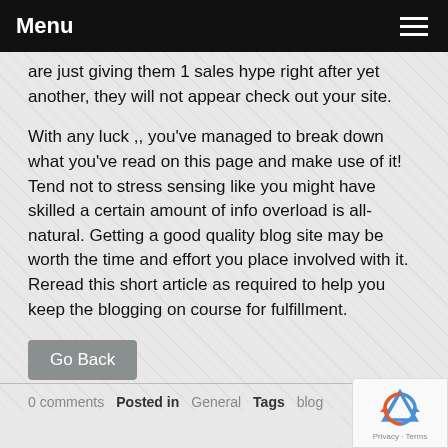Menu
are just giving them 1 sales hype right after yet another, they will not appear check out your site.
With any luck ,, you've managed to break down what you've read on this page and make use of it! Tend not to stress sensing like you might have skilled a certain amount of info overload is all-natural. Getting a good quality blog site may be worth the time and effort you place involved with it. Reread this short article as required to help you keep the blogging on course for fulfillment.
Go Back
0 comments   Posted in General   Tags blog